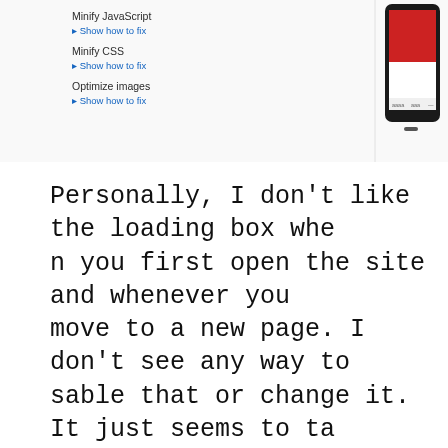[Figure (screenshot): Screenshot showing a web performance checklist on the left (Minify JavaScript, Show how to fix; Minify CSS, Show how to fix; Optimize images, Show how to fix) and a mobile phone mockup on the right displaying a website with a red header area.]
Personally, I don't like the loading box when you first open the site and whenever you move to a new page. I don't see any way to sable that or change it. It just seems to take too long to load.
WPBakery Visual Composer: For me this is a con, but some people may consider it a plus. As a developer, I want to code things with HTML to be exactly as I want them. Being new to this plugin, I found it confusing